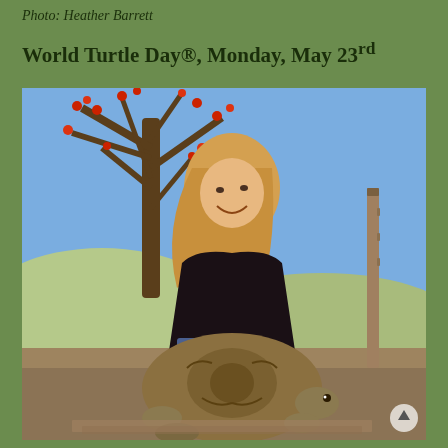Photo: Heather Barrett
World Turtle Day®, Monday, May 23rd
[Figure (photo): A smiling blonde woman in a black long-sleeve shirt kneeling behind a large tortoise outdoors, with bare tree branches and red berries visible in the background against a blue sky. The woman has her hands resting on the tortoise's shell.]